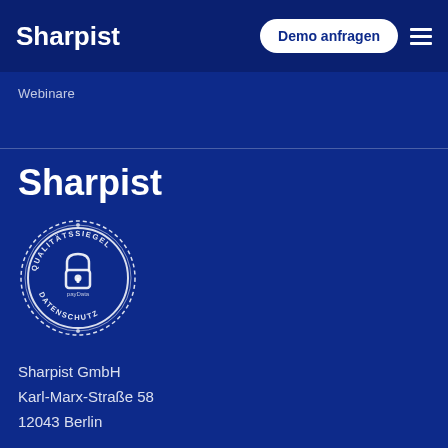Sharpist
Demo anfragen
Webinare
Sharpist
[Figure (logo): Qualitätssiegel Datenschutz circular seal badge with a lock icon and text reading QUALITÄTSSIEGEL and DATENSCHUTZ, with payData text inside]
Sharpist GmbH
Karl-Marx-Straße 58
12043 Berlin